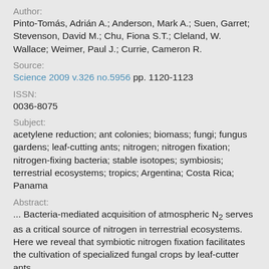Author:
Pinto-Tomás, Adrián A.; Anderson, Mark A.; Suen, Garret; Stevenson, David M.; Chu, Fiona S.T.; Cleland, W. Wallace; Weimer, Paul J.; Currie, Cameron R.
Source:
Science 2009 v.326 no.5956 pp. 1120-1123
ISSN:
0036-8075
Subject:
acetylene reduction; ant colonies; biomass; fungi; fungus gardens; leaf-cutting ants; nitrogen; nitrogen fixation; nitrogen-fixing bacteria; stable isotopes; symbiosis; terrestrial ecosystems; tropics; Argentina; Costa Rica; Panama
Abstract:
... Bacteria-mediated acquisition of atmospheric N2 serves as a critical source of nitrogen in terrestrial ecosystems. Here we reveal that symbiotic nitrogen fixation facilitates the cultivation of specialized fungal crops by leaf-cutter ants.